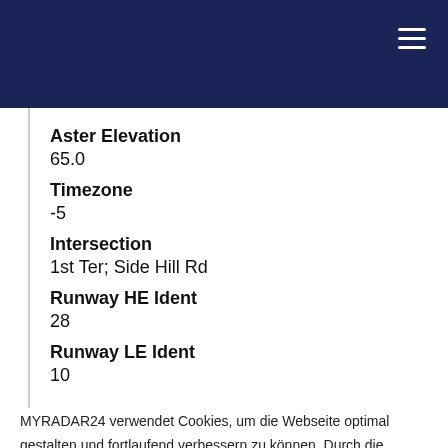Aster Elevation
65.0
Timezone
-5
Intersection
1st Ter; Side Hill Rd
Runway HE Ident
28
Runway LE Ident
10
MYRADAR24 verwendet Cookies, um die Webseite optimal gestalten und fortlaufend verbessern zu können. Durch die weitere Nutzung stimmen Sie der Verwendung von Cookies zu.
OK